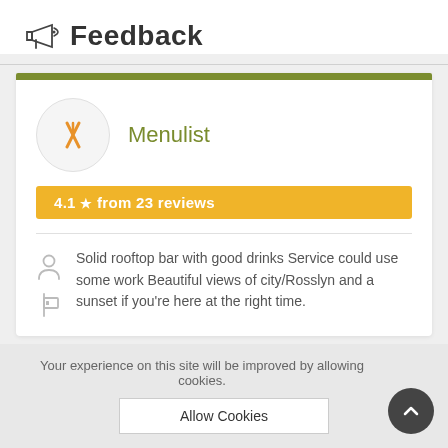Feedback
[Figure (infographic): Menulist app card with olive-green top bar, circular logo with crossed fork and knife icon, Menulist name in olive green, gold rating badge showing 4.1 star from 23 reviews, and a user review text with person and flag icons.]
Solid rooftop bar with good drinks Service could use some work Beautiful views of city/Rosslyn and a sunset if you're here at the right time.
Your experience on this site will be improved by allowing cookies.
Allow Cookies